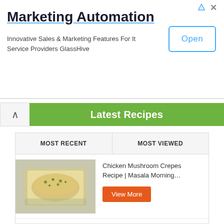[Figure (screenshot): Advertisement banner for Marketing Automation - GlassHive with Open button]
Marketing Automation
Innovative Sales & Marketing Features For It Service Providers GlassHive
Latest Recipes
| MOST RECENT | MOST VIEWED |
| --- | --- |
| [image: baked dish] | Chicken Mushroom Crepes Recipe | Masala Morning... [View More] |
| [image: kabab dish] | Chicken Seekh Kabab Recipe | Tarka | Masala T... [View More] |
|  | Baghar wali Maash ki Daal Recipe | Dawat | Masala |